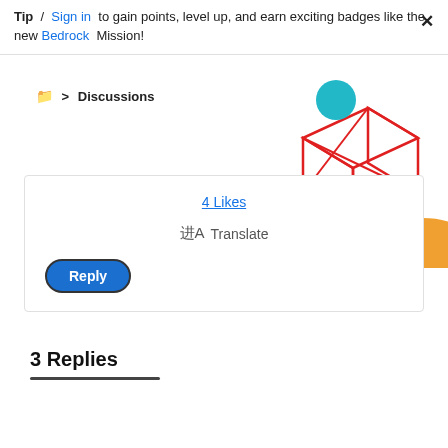Tip / Sign in to gain points, level up, and earn exciting badges like the new Bedrock Mission!
📁 > Discussions
[Figure (illustration): Decorative 3D wireframe cube shape in red lines with a teal/cyan circle and orange half-circle, geometric illustration]
4 Likes
🌐 Translate
Reply
3 Replies